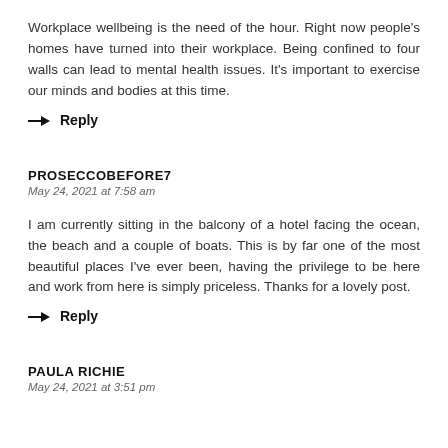Workplace wellbeing is the need of the hour. Right now people's homes have turned into their workplace. Being confined to four walls can lead to mental health issues. It's important to exercise our minds and bodies at this time.
→ Reply
PROSECCOBEFORE7
May 24, 2021 at 7:58 am
I am currently sitting in the balcony of a hotel facing the ocean, the beach and a couple of boats. This is by far one of the most beautiful places I've ever been, having the privilege to be here and work from here is simply priceless. Thanks for a lovely post.
→ Reply
PAULA RICHIE
May 24, 2021 at 3:51 pm